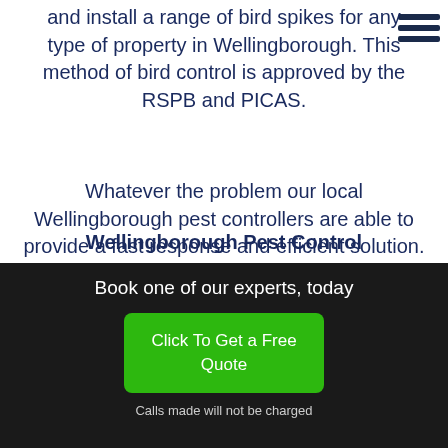and install a range of bird spikes for any type of property in Wellingborough. This method of bird control is approved by the RSPB and PICAS.
Whatever the problem our local Wellingborough pest controllers are able to provide a fast response and efficient solution.
[Figure (other): Green 'Contact us' button]
Wellingborough Pest Control
Book one of our experts, today
[Figure (other): Green 'Click To Get a Free Quote' button]
Calls made will not be charged